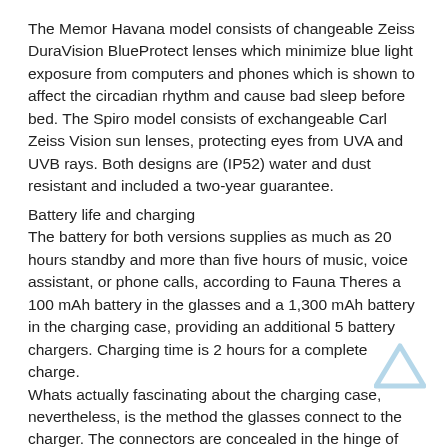The Memor Havana model consists of changeable Zeiss DuraVision BlueProtect lenses which minimize blue light exposure from computers and phones which is shown to affect the circadian rhythm and cause bad sleep before bed. The Spiro model consists of exchangeable Carl Zeiss Vision sun lenses, protecting eyes from UVA and UVB rays. Both designs are (IP52) water and dust resistant and included a two-year guarantee.
Battery life and charging
The battery for both versions supplies as much as 20 hours standby and more than five hours of music, voice assistant, or phone calls, according to Fauna Theres a 100 mAh battery in the glasses and a 1,300 mAh battery in the charging case, providing an additional 5 battery chargers. Charging time is 2 hours for a complete charge.
Whats actually fascinating about the charging case, nevertheless, is the method the glasses connect to the charger. The connectors are concealed in the hinge of